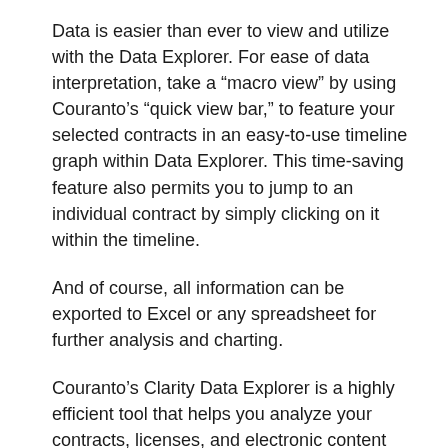Data is easier than ever to view and utilize with the Data Explorer. For ease of data interpretation, take a “macro view” by using Couranto’s “quick view bar,” to feature your selected contracts in an easy-to-use timeline graph within Data Explorer. This time-saving feature also permits you to jump to an individual contract by simply clicking on it within the timeline.
And of course, all information can be exported to Excel or any spreadsheet for further analysis and charting.
Couranto’s Clarity Data Explorer is a highly efficient tool that helps you analyze your contracts, licenses, and electronic content more effectively and efficiently. Use it to control your organization’s information management costs and usage through vendor identification, departmental spend and usage, agreement type classification, expiration dates and budgetary tracking, etc. With your business in mind,